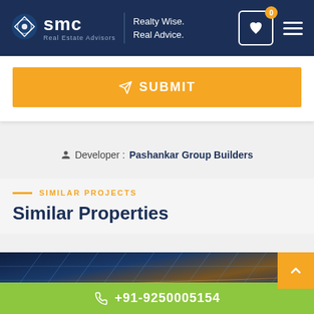SMC Real Estate Advisors — Realty Wise. Real Advice.
SUBMIT
Developer : Pashankar Group Builders
SIMILAR PROJECTS
Similar Properties
[Figure (photo): Exterior view of a large multi-storey building with structural steel and glass, viewed from below at an upward angle.]
+91-9250005154